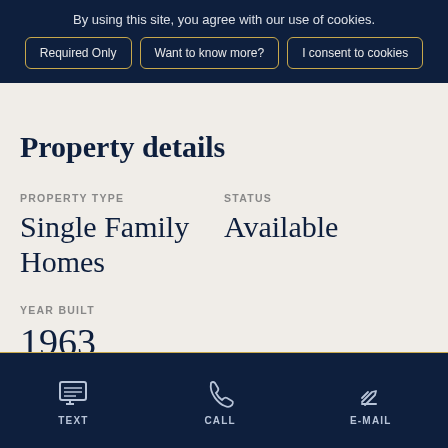By using this site, you agree with our use of cookies.
Required Only | Want to know more? | I consent to cookies
Property details
PROPERTY TYPE
Single Family Homes
STATUS
Available
YEAR BUILT
1963
TEXT  CALL  E-MAIL